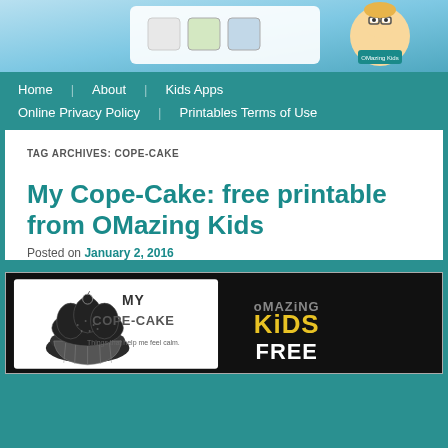[Figure (illustration): Website header banner with blue gradient background showing app icons and a cartoon character with glasses]
Home   About   Kids Apps   Online Privacy Policy   Printables Terms of Use
TAG ARCHIVES: COPE-CAKE
My Cope-Cake: free printable from OMazing Kids
Posted on January 2, 2016
[Figure (illustration): Promotional image showing a cupcake drawing labeled MY COPE-CAKE with text 'Things that help me feel calm' alongside OMazing Kids FREE branding in yellow on dark background]